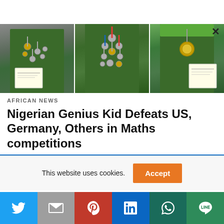[Figure (photo): Three panels showing a person in a green Nigerian uniform wearing multiple medals and holding certificates]
AFRICAN NEWS
Nigerian Genius Kid Defeats US, Germany, Others in Maths competitions
This website uses cookies.
[Figure (infographic): Social media share buttons: Twitter, Gmail, Pinterest, LinkedIn, WhatsApp, Line]